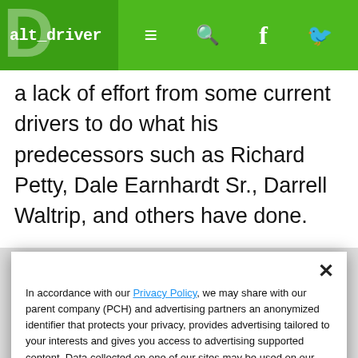alt_driver
a lack of effort from some current drivers to do what his predecessors such as Richard Petty, Dale Earnhardt Sr., Darrell Waltrip, and others have done.
“I am living off of what they have created in this
In accordance with our Privacy Policy, we may share with our parent company (PCH) and advertising partners an anonymized identifier that protects your privacy, provides advertising tailored to your interests and gives you access to advertising supported content. Data collected on one of our sites may be used on our other owned and operated sites, which sites are identified in our Privacy Policy. All of our sites are governed by the same Privacy Policy, and by proceeding to access this site, you are consenting to that Privacy Policy.